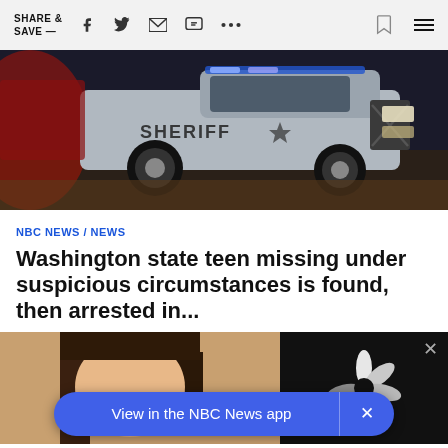SHARE & SAVE —
[Figure (photo): A silver Sheriff SUV/truck parked on pavement, shot from a low angle at night with red and blue lights visible in the background.]
NBC NEWS / NEWS
Washington state teen missing under suspicious circumstances is found, then arrested in...
[Figure (photo): Bottom portion of page showing a person's face/hair on the left and NBC News peacock logo on dark background on the right, with an app download banner overlay reading 'View in the NBC News app' with an X close button.]